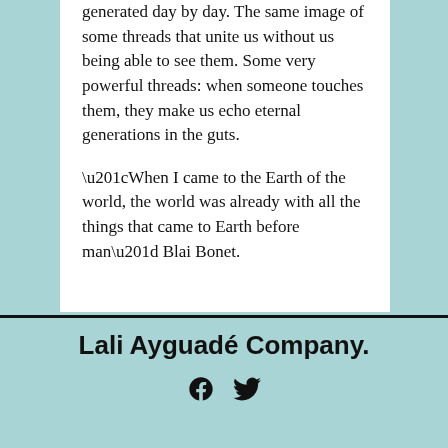generated day by day. The same image of some threads that unite us without us being able to see them. Some very powerful threads: when someone touches them, they make us echo eternal generations in the guts.

“When I came to the Earth of the world, the world was already with all the things that came to Earth before man” Blai Bonet.
Lali Ayguadé Company.